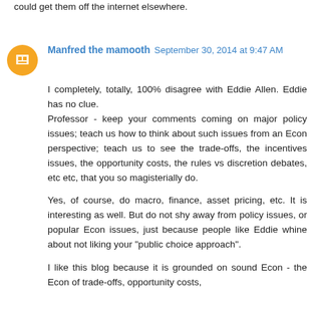could get them off the internet elsewhere.
Manfred the mamooth  September 30, 2014 at 9:47 AM
I completely, totally, 100% disagree with Eddie Allen. Eddie has no clue.
Professor - keep your comments coming on major policy issues; teach us how to think about such issues from an Econ perspective; teach us to see the trade-offs, the incentives issues, the opportunity costs, the rules vs discretion debates, etc etc, that you so magisterially do.
Yes, of course, do macro, finance, asset pricing, etc. It is interesting as well. But do not shy away from policy issues, or popular Econ issues, just because people like Eddie whine about not liking your "public choice approach".
I like this blog because it is grounded on sound Econ - the Econ of trade-offs, opportunity costs,